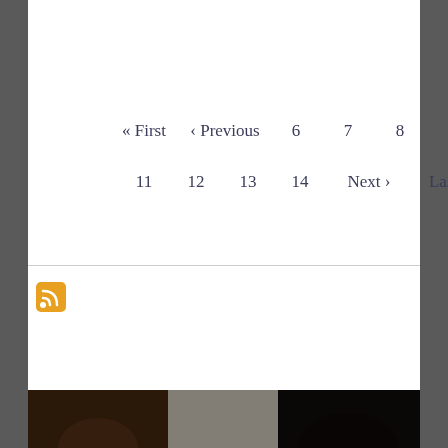« First  ‹ Previous  6  7  8  9  10  11  12  13  14  Next ›  Last »
[Figure (logo): RSS feed icon — orange square with white RSS signal symbol]
[Figure (photo): Dark photograph of people, partially visible at bottom of page]